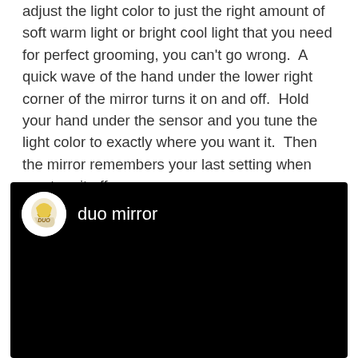adjust the light color to just the right amount of soft warm light or bright cool light that you need for perfect grooming, you can't go wrong.  A quick wave of the hand under the lower right corner of the mirror turns it on and off.  Hold your hand under the sensor and you tune the light color to exactly where you want it.  Then the mirror remembers your last setting when you turn it off.
[Figure (screenshot): A YouTube-style video player with black background showing the channel avatar (circular logo with gold/yellow design on white background) and channel name 'duo mirror' in white text at the top left, with the rest of the frame being solid black.]